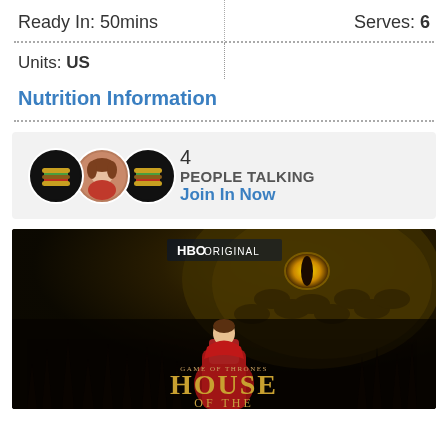Ready In: 50mins
Serves: 6
Units: US
Nutrition Information
[Figure (infographic): Social widget showing 3 user avatars (two burger icons and one photo of a woman), with text '4 PEOPLE TALKING' and a blue 'Join In Now' link]
[Figure (photo): HBO Original - House of the Dragon / Game of Thrones promotional poster showing a woman in red cloak standing before a large dragon]